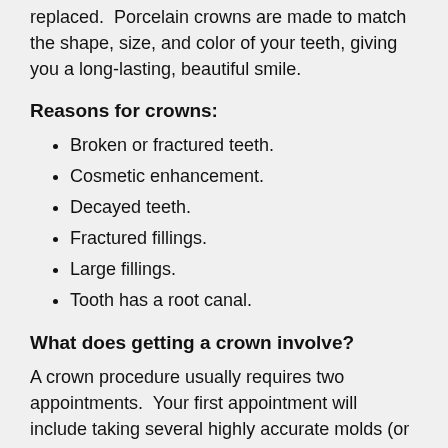replaced.  Porcelain crowns are made to match the shape, size, and color of your teeth, giving you a long-lasting, beautiful smile.
Reasons for crowns:
Broken or fractured teeth.
Cosmetic enhancement.
Decayed teeth.
Fractured fillings.
Large fillings.
Tooth has a root canal.
What does getting a crown involve?
A crown procedure usually requires two appointments.  Your first appointment will include taking several highly accurate molds (or impressions) that will be used to create your custom crown.  A mold will also be used to create a temporary crown which will stay on your tooth for approximately two weeks until your new crown is